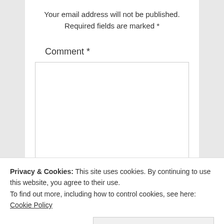Your email address will not be published. Required fields are marked *
Comment *
[Figure (other): Empty comment text area input box with border]
Privacy & Cookies: This site uses cookies. By continuing to use this website, you agree to their use. To find out more, including how to control cookies, see here: Cookie Policy
Close and accept
[Figure (logo): TrustedSite CERTIFIED SECURE badge with green checkmark]